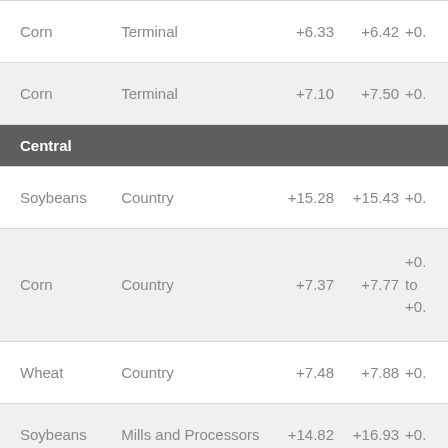| Commodity | Type | Val1 | Val2 | Val3 |
| --- | --- | --- | --- | --- |
| Corn | Terminal | +6.33 | +6.42 | +0. |
| Corn | Terminal | +7.10 | +7.50 | +0. |
| Soybeans | Country | +15.28 | +15.43 | +0. |
| Corn | Country | +7.37 | +7.77 | +0. to +0. |
| Wheat | Country | +7.48 | +7.88 | +0. |
| Soybeans | Mills and Processors | +14.82 | +16.93 | +0. |
| Corn | Mills and Processors | +8.05 | +7.55 |  |